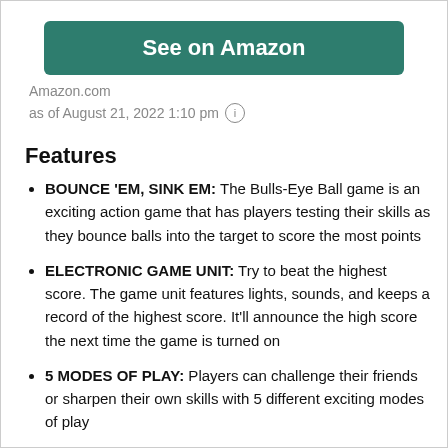[Figure (other): Green 'See on Amazon' button]
Amazon.com
as of August 21, 2022 1:10 pm ⓘ
Features
BOUNCE 'EM, SINK EM: The Bulls-Eye Ball game is an exciting action game that has players testing their skills as they bounce balls into the target to score the most points
ELECTRONIC GAME UNIT: Try to beat the highest score. The game unit features lights, sounds, and keeps a record of the highest score. It'll announce the high score the next time the game is turned on
5 MODES OF PLAY: Players can challenge their friends or sharpen their own skills with 5 different exciting modes of play